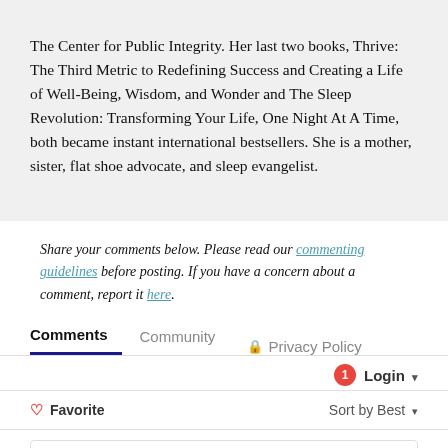The Center for Public Integrity. Her last two books, Thrive: The Third Metric to Redefining Success and Creating a Life of Well-Being, Wisdom, and Wonder and The Sleep Revolution: Transforming Your Life, One Night At A Time, both became instant international bestsellers. She is a mother, sister, flat shoe advocate, and sleep evangelist.
Share your comments below. Please read our commenting guidelines before posting. If you have a concern about a comment, report it here.
Comments  Community  Privacy Policy
Login
Favorite  Sort by Best
Start the discussion...